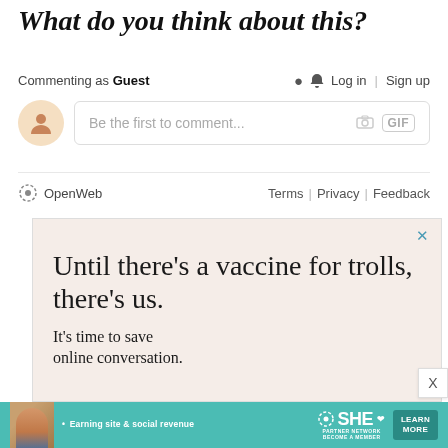What do you think about this?
Commenting as Guest
Log in | Sign up
Be the first to comment...
OpenWeb   Terms | Privacy | Feedback
[Figure (screenshot): Advertisement box with light pink background. Text reads: 'Until there's a vaccine for trolls, there's us.' and 'It's time to save online conversation.' with a close (X) button in teal.]
[Figure (infographic): Bottom banner advertisement for SHE Media Partner Network. Photo of a woman on left, text 'Earning site & social revenue', SHE Media logo, LEARN MORE button in dark teal.]